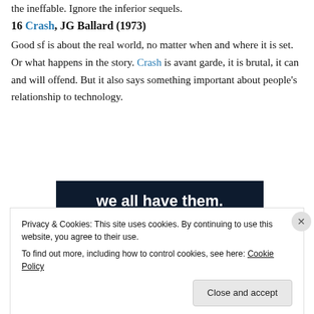the ineffable. Ignore the inferior sequels.
16 Crash, JG Ballard (1973)
Good sf is about the real world, no matter when and where it is set. Or what happens in the story. Crash is avant garde, it is brutal, it can and will offend. But it also says something important about people's relationship to technology.
[Figure (screenshot): Dark navy background image with bold white text reading 'we all have them.' with a pink/rose colored bar element and a circular gray element visible at the bottom.]
Privacy & Cookies: This site uses cookies. By continuing to use this website, you agree to their use.
To find out more, including how to control cookies, see here: Cookie Policy
Close and accept